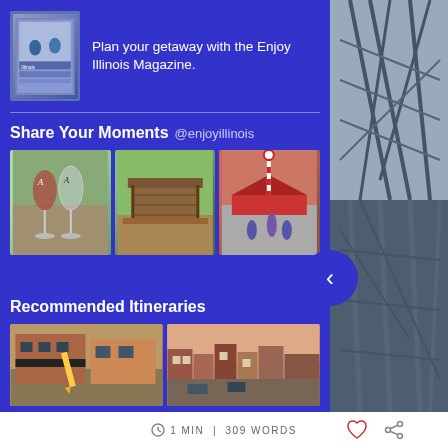[Figure (photo): Enjoy Illinois Magazine cover shown at top left]
Plan your getaway with the Enjoy Illinois Magazine.
Share Your Moments @enjoyillinois
[Figure (photo): Wine glasses on a golf course]
[Figure (photo): Covered wooden bridge]
[Figure (photo): Outdoor event with candy cane decorations]
Recommended Itineraries
[Figure (photo): Street scene with large pencil sculpture - roadside distractions]
roadside distractions
[Figure (photo): Aerial view of Galena town street - a romantic galena getaway]
a romantic galena getaway
1 MIN | 309 WORDS
[Figure (photo): Roller coaster steel structure on right side]